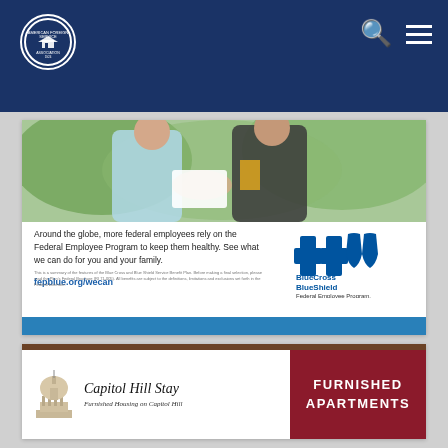[Figure (logo): American Foreign Service Association circular seal/logo in white on navy background]
[Figure (photo): Two people outdoors exchanging or sharing a document/tablet, one in light blue top, one in dark jacket with yellow undershirt, green foliage background]
Around the globe, more federal employees rely on the Federal Employee Program to keep them healthy. See what we can do for you and your family.
fepblue.org/wecan
This is a summary of the features of the Blue Cross and Blue Shield Service Benefit Plan. Before making a final selection, please read the Plan's Federal Brochure (RI 71-005). All benefits are subject to the definitions, limitations and exclusions set forth in the Federal brochure.
[Figure (logo): BlueCross BlueShield Federal Employee Program logo]
[Figure (photo): Capitol Hill Stay advertisement showing Capitol building illustration with text 'Capitol Hill Stay - Furnished Housing on Capitol Hill' and 'FURNISHED APARTMENTS' on dark red background]